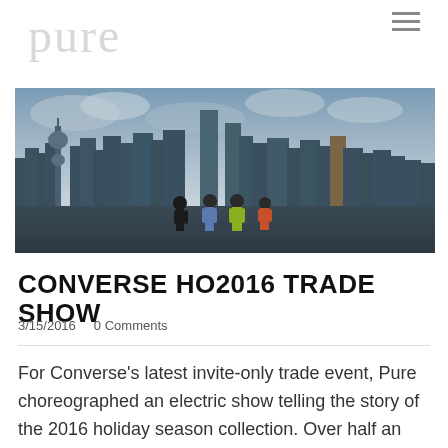pure
[Figure (photo): Panoramic city skyline (Shanghai) at dusk with people standing in the foreground looking at tall buildings and the Oriental Pearl Tower]
CONVERSE HO2016 TRADE SHOW
3/15/2016   0 Comments
For Converse's latest invite-only trade event, Pure choreographed an electric show telling the story of the 2016 holiday season collection. Over half an hour of custom video footage - including content from